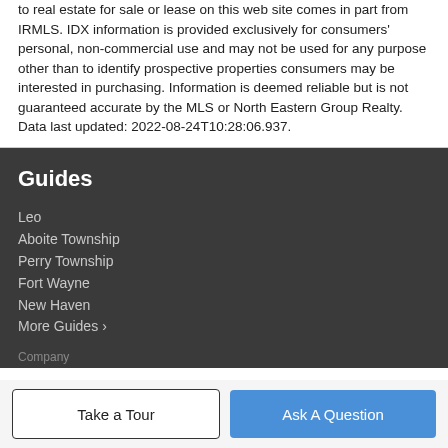to real estate for sale or lease on this web site comes in part from IRMLS. IDX information is provided exclusively for consumers' personal, non-commercial use and may not be used for any purpose other than to identify prospective properties consumers may be interested in purchasing. Information is deemed reliable but is not guaranteed accurate by the MLS or North Eastern Group Realty. Data last updated: 2022-08-24T10:28:06.937.
Guides
Leo
Aboite Township
Perry Township
Fort Wayne
New Haven
More Guides >
Take a Tour
Ask A Question